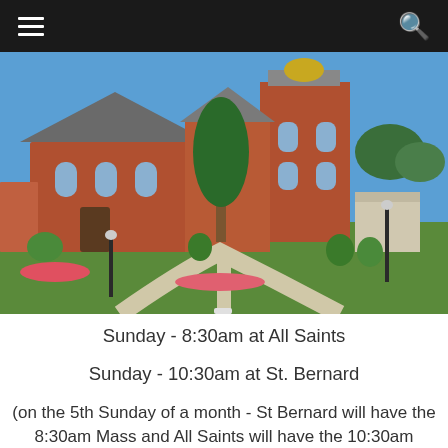Navigation and search bar
[Figure (photo): Exterior photo of a red brick Catholic church building with gothic-style arched windows, a tall tower with golden dome, surrounded by green lawn, shrubs, and flowering plants under a clear blue sky.]
Sunday - 8:30am at All Saints
Sunday - 10:30am at St. Bernard
(on the 5th Sunday of a month - St Bernard will have the 8:30am Mass and All Saints will have the 10:30am